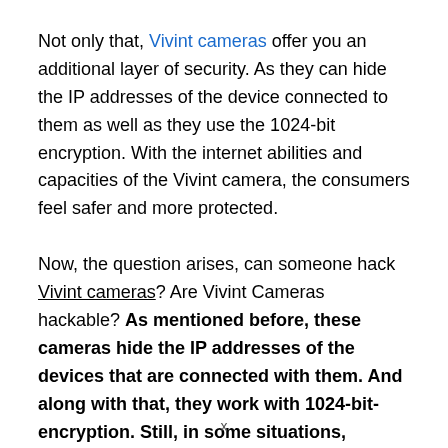Not only that, Vivint cameras offer you an additional layer of security. As they can hide the IP addresses of the device connected to them as well as they use the 1024-bit encryption. With the internet abilities and capacities of the Vivint camera, the consumers feel safer and more protected.
Now, the question arises, can someone hack Vivint cameras? Are Vivint Cameras hackable? As mentioned before, these cameras hide the IP addresses of the devices that are connected with them. And along with that, they work with 1024-bit-encryption. Still, in some situations, potential hackers can hack into
x